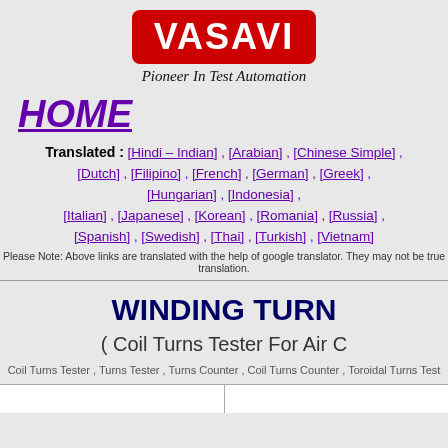[Figure (logo): VASAVI logo in red rounded rectangle with white bold text, tagline 'Pioneer In Test Automation' in italic below]
HOME
Translated : [Hindi – Indian] , [Arabian] , [Chinese Simple] , [Dutch] , [Filipino] , [French] , [German] , [Greek] , [Hungarian] , [Indonesia] , [Italian] , [Japanese] , [Korean] , [Romania] , [Russia] , [Spanish] , [Swedish] , [Thai] , [Turkish] , [Vietnam]
Please Note: Above links are translated with the help of google translator. They may not be true translation.
WINDING TURN
( Coil Turns Tester For Air C
Coil Turns Tester , Turns Tester , Turns Counter , Coil Turns Counter , Toroidal Turns Test